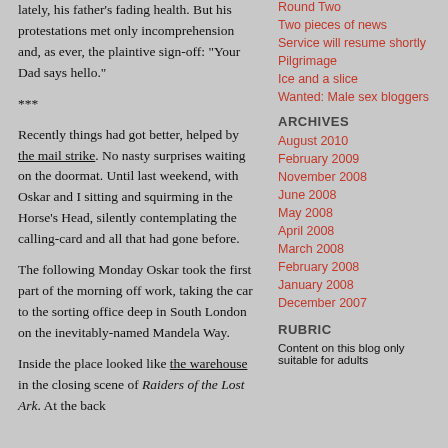lately, his father's fading health.  But his protestations met only incomprehension and, as ever, the plaintive sign-off: "Your Dad says hello."
***
Recently things had got better, helped by the mail strike.  No nasty surprises waiting on the doormat.  Until last weekend, with Oskar and I sitting and squirming in the Horse's Head, silently contemplating the calling-card and all that had gone before.
The following Monday Oskar took the first part of the morning off work, taking the car to the sorting office deep in South London on the inevitably-named Mandela Way.
Inside the place looked like the warehouse in the closing scene of Raiders of the Lost Ark.  At the back
Round Two
Two pieces of news
Service will resume shortly
Pilgrimage
Ice and a slice
Wanted: Male sex bloggers
ARCHIVES
August 2010
February 2009
November 2008
June 2008
May 2008
April 2008
March 2008
February 2008
January 2008
December 2007
RUBRIC
Content on this blog only suitable for adults